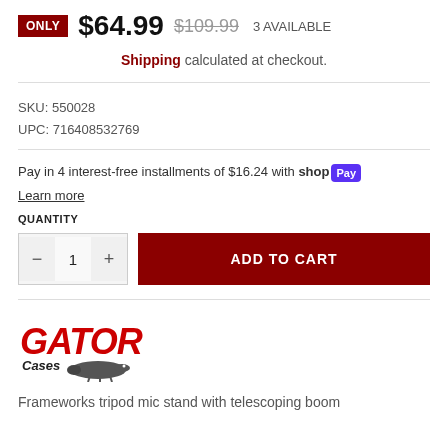ONLY $64.99 $109.99 3 AVAILABLE
Shipping calculated at checkout.
SKU: 550028
UPC: 716408532769
Pay in 4 interest-free installments of $16.24 with Shop Pay
Learn more
QUANTITY
ADD TO CART
[Figure (logo): Gator Cases logo with red stylized text and alligator illustration]
Frameworks tripod mic stand with telescoping boom